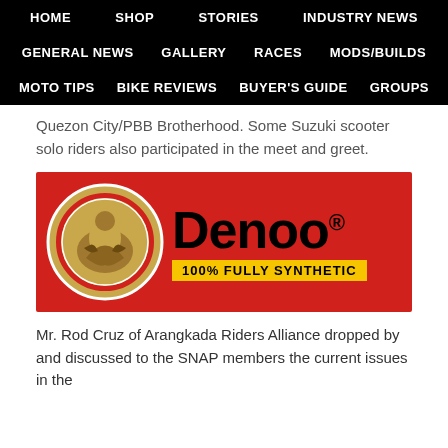HOME  SHOP  STORIES  INDUSTRY NEWS  GENERAL NEWS  GALLERY  RACES  MODS/BUILDS  MOTO TIPS  BIKE REVIEWS  BUYER'S GUIDE  GROUPS
Quezon City/PBB Brotherhood. Some Suzuki scooter solo riders also participated in the meet and greet.
[Figure (logo): Denoo 100% Fully Synthetic oil brand advertisement banner on red background with circular golden logo and bold black Denoo text with yellow tagline bar]
Mr. Rod Cruz of Arangkada Riders Alliance dropped by and discussed to the SNAP members the current issues in the